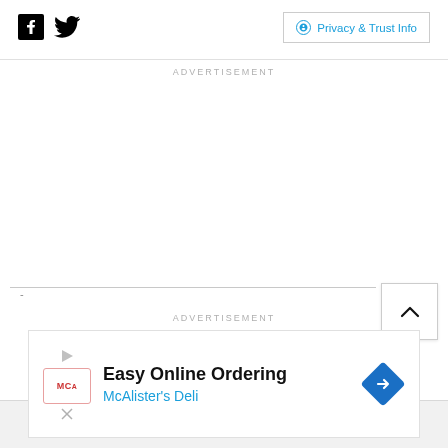Facebook Twitter | Privacy & Trust Info
ADVERTISEMENT
[Figure (other): Empty advertisement placeholder area]
ADVERTISEMENT
[Figure (other): Easy Online Ordering - McAlister's Deli advertisement banner]